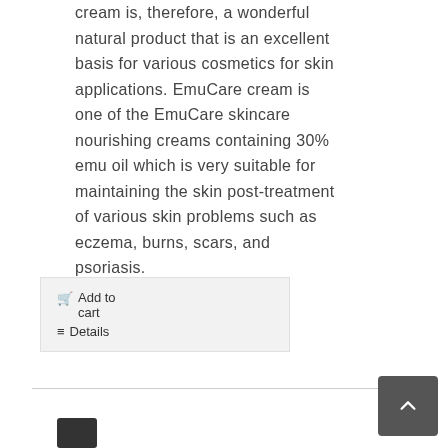cream is, therefore, a wonderful natural product that is an excellent basis for various cosmetics for skin applications. EmuCare cream is one of the EmuCare skincare nourishing creams containing 30% emu oil which is very suitable for maintaining the skin post-treatment of various skin problems such as eczema, burns, scars, and psoriasis.
Add to cart
Details
[Figure (photo): Partial product image visible at bottom of page, appears to be a dark cylindrical container]